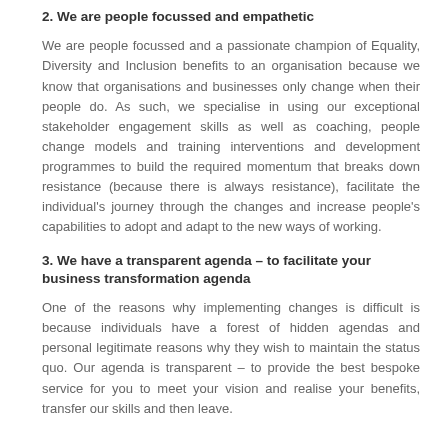2. We are people focussed and empathetic
We are people focussed and a passionate champion of Equality, Diversity and Inclusion benefits to an organisation because we know that organisations and businesses only change when their people do. As such, we specialise in using our exceptional stakeholder engagement skills as well as coaching, people change models and training interventions and development programmes to build the required momentum that breaks down resistance (because there is always resistance), facilitate the individual's journey through the changes and increase people's capabilities to adopt and adapt to the new ways of working.
3. We have a transparent agenda – to facilitate your business transformation agenda
One of the reasons why implementing changes is difficult is because individuals have a forest of hidden agendas and personal legitimate reasons why they wish to maintain the status quo. Our agenda is transparent – to provide the best bespoke service for you to meet your vision and realise your benefits, transfer our skills and then leave.